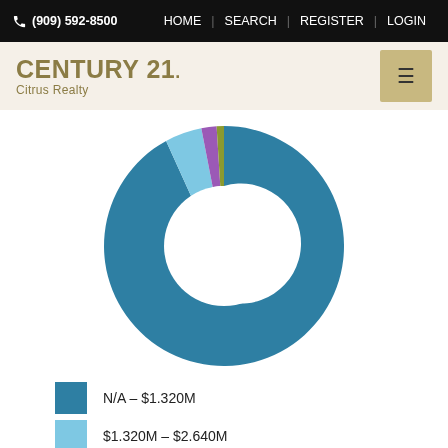(909) 592-8500  HOME  SEARCH  REGISTER  LOGIN
CENTURY 21. Citrus Realty
[Figure (donut-chart): Donut chart showing property price range distribution. The dominant segment (dark teal/blue) is N/A – $1.320M occupying nearly the full circle. A small light blue segment for $1.320M–$2.640M, a tiny purple segment for $2.640M–$3.960M, and a tiny green segment for $3.960M–$5.280M.]
N/A – $1.320M
$1.320M – $2.640M
$2.640M – $3.960M
$3.960M – $5.280M